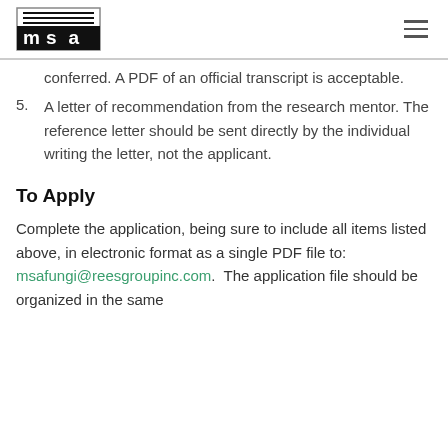MSA logo and navigation
conferred. A PDF of an official transcript is acceptable.
5. A letter of recommendation from the research mentor. The reference letter should be sent directly by the individual writing the letter, not the applicant.
To Apply
Complete the application, being sure to include all items listed above, in electronic format as a single PDF file to: msafungi@reesgroupinc.com. The application file should be organized in the same